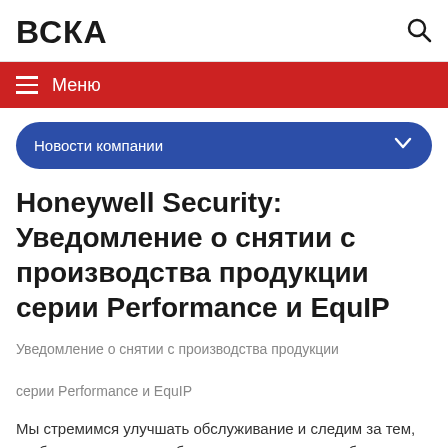ВСКА
Меню
Новости компании
Honeywell Security: Уведомление о снятии с производства продукции серии Performance и EquIP
Уведомление о снятии с производства продукции

серии Performance и EquIP
Мы стремимся улучшать обслуживание и следим за тем, чтобы наши заказчики были осведомлены о любых изменениях,